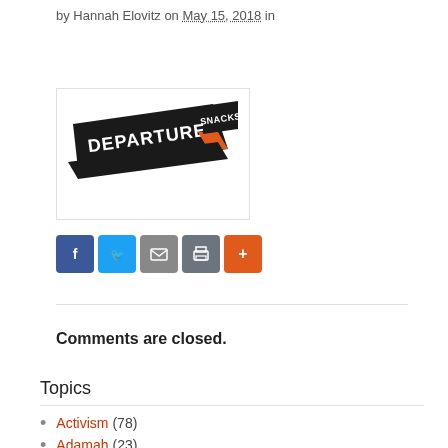by Hannah Elovitz on May 15, 2018 in
[Figure (logo): Departure Snacks logo — bold black diagonal banner with white text 'DEPARTURE' and smaller text 'SNACKS' with an orange chevron accent]
[Figure (infographic): Social share buttons: Facebook (blue), Twitter (blue), Email (grey), Print (grey), More (orange)]
Comments are closed.
Topics
Activism (78)
Adamah (23)
Animals (16)
Brit Hazon (1)